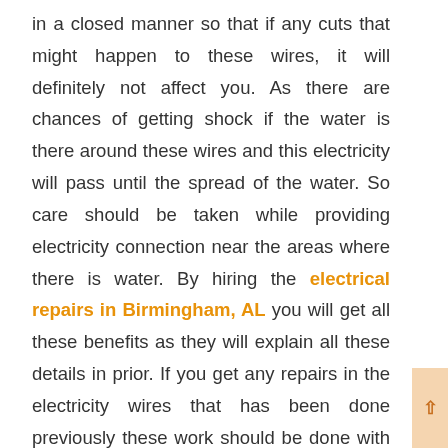in a closed manner so that if any cuts that might happen to these wires, it will definitely not affect you. As there are chances of getting shock if the water is there around these wires and this electricity will pass until the spread of the water. So care should be taken while providing electricity connection near the areas where there is water. By hiring the electrical repairs in Birmingham, AL you will get all these benefits as they will explain all these details in prior. If you get any repairs in the electricity wires that has been done previously these work should be done with the help of the experienced people. By doing the work with these